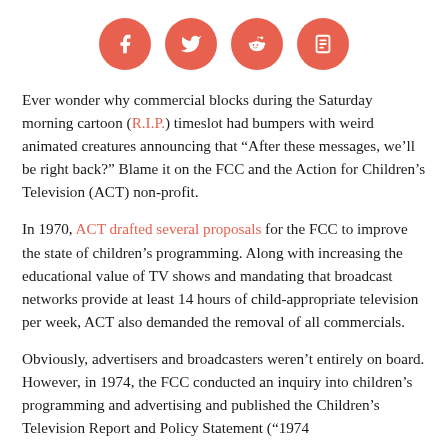[Figure (other): Four social media share buttons (Facebook, Twitter, Reddit, and a fourth icon) as salmon/coral colored circles with white icons]
Ever wonder why commercial blocks during the Saturday morning cartoon (R.I.P.) timeslot had bumpers with weird animated creatures announcing that “After these messages, we’ll be right back?” Blame it on the FCC and the Action for Children’s Television (ACT) non-profit.
In 1970, ACT drafted several proposals for the FCC to improve the state of children’s programming. Along with increasing the educational value of TV shows and mandating that broadcast networks provide at least 14 hours of child-appropriate television per week, ACT also demanded the removal of all commercials.
Obviously, advertisers and broadcasters weren’t entirely on board. However, in 1974, the FCC conducted an inquiry into children’s programming and advertising and published the Children’s Television Report and Policy Statement (“1974